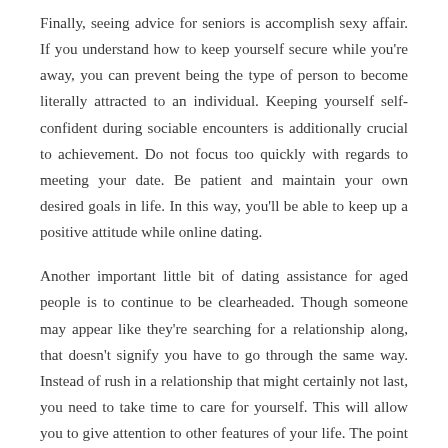Finally, seeing advice for seniors is accomplish sexy affair. If you understand how to keep yourself secure while you're away, you can prevent being the type of person to become literally attracted to an individual. Keeping yourself self-confident during sociable encounters is additionally crucial to achievement. Do not focus too quickly with regards to meeting your date. Be patient and maintain your own desired goals in life. In this way, you'll be able to keep up a positive attitude while online dating.
Another important little bit of dating assistance for aged people is to continue to be clearheaded. Though someone may appear like they're searching for a relationship along, that doesn't signify you have to go through the same way. Instead of rush in a relationship that might certainly not last, you need to take time to care for yourself. This will allow you to give attention to other features of your life. The point to attend before